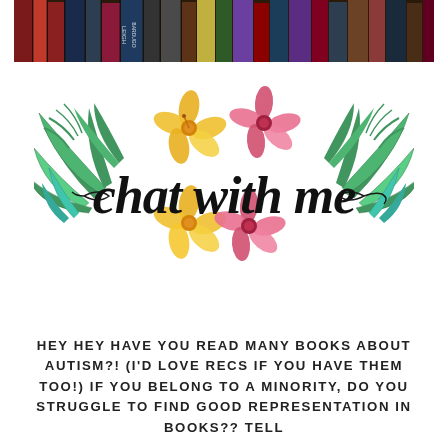[Figure (photo): Horizontal strip photo of colorful book spines on a bookshelf, showing various book titles including works by Leigh Bardugo]
[Figure (illustration): Decorative 'chat with me' logo in cursive script surrounded by tropical flowers (yellow and pink hibiscus) and green palm fronds]
HEY HEY HAVE YOU READ MANY BOOKS ABOUT AUTISM?! (I'D LOVE RECS IF YOU HAVE THEM TOO!) IF YOU BELONG TO A MINORITY, DO YOU STRUGGLE TO FIND GOOD REPRESENTATION IN BOOKS?? TELL